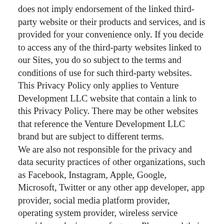does not imply endorsement of the linked third-party website or their products and services, and is provided for your convenience only.  If you decide to access any of the third-party websites linked to our Sites, you do so subject to the terms and conditions of use for such third-party websites.
This Privacy Policy only applies to Venture Development LLC website that contain a link to this Privacy Policy.  There may be other websites that reference the Venture Development LLC brand but are subject to different terms.
We are also not responsible for the privacy and data security practices of other organizations, such as Facebook, Instagram, Apple, Google, Microsoft, Twitter or any other app developer, app provider, social media platform provider, operating system provider, wireless service provider or device manufacturer.  Please read their privacy policies and consider customized settings on your browser or through your mobile phone to limit